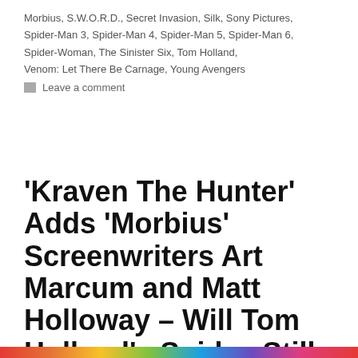Morbius, S.W.O.R.D., Secret Invasion, Silk, Sony Pictures, Spider-Man 3, Spider-Man 4, Spider-Man 5, Spider-Man 6, Spider-Woman, The Sinister Six, Tom Holland, Venom: Let There Be Carnage, Young Avengers
Leave a comment
'Kraven The Hunter' Adds 'Morbius' Screenwriters Art Marcum and Matt Holloway – Will Tom Holland's Spidey Still Appear?